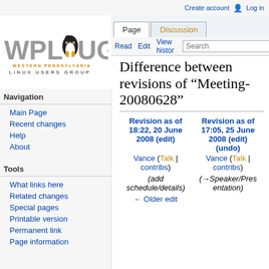Create account  Log in
[Figure (logo): WPLUG - Western Pennsylvania Linux Users Group logo with Tux penguin]
Navigation
Main Page
Recent changes
Help
About
Tools
What links here
Related changes
Special pages
Printable version
Permanent link
Page information
Difference between revisions of "Meeting-20080628"
| Revision as of 18:22, 20 June 2008 (edit) | Revision as of 17:05, 25 June 2008 (edit) (undo) |
| --- | --- |
| Vance (Talk | contribs) | Vance (Talk | contribs) |
| (add schedule/details) | (→Speaker/Presentation) |
| ← Older edit |  |